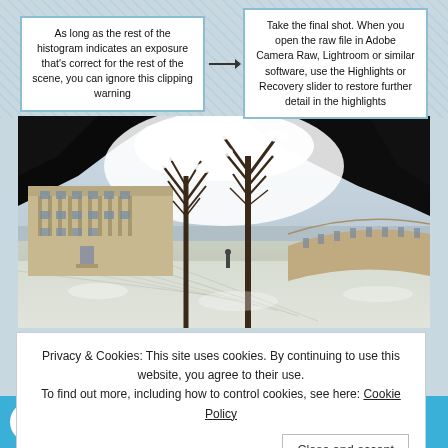As long as the rest of the histogram indicates an exposure that's correct for the rest of the scene, you can ignore this clipping warning
Take the final shot. When you open the raw file in Adobe Camera Raw, Lightroom or similar software, use the Highlights or Recovery slider to restore further detail in the highlights
[Figure (photo): Winter photo of a Georgian crescent building (likely Royal Crescent, Bath) with snow on the ground, bare trees in the foreground, and a dramatically overexposed/blown-out sky with dark blobs at the edges suggesting clipping]
Privacy & Cookies: This site uses cookies. By continuing to use this website, you agree to their use.
To find out more, including how to control cookies, see here: Cookie Policy
Close and accept
4 High contrast